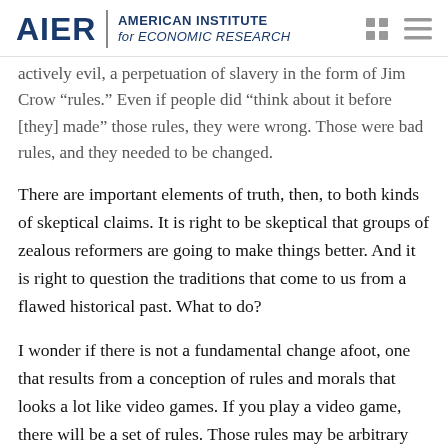AIER | AMERICAN INSTITUTE for ECONOMIC RESEARCH
actively evil, a perpetuation of slavery in the form of Jim Crow “rules.” Even if people did “think about it before [they] made” those rules, they were wrong. Those were bad rules, and they needed to be changed.
There are important elements of truth, then, to both kinds of skeptical claims. It is right to be skeptical that groups of zealous reformers are going to make things better. And it is right to question the traditions that come to us from a flawed historical past. What to do?
I wonder if there is not a fundamental change afoot, one that results from a conception of rules and morals that looks a lot like video games. If you play a video game, there will be a set of rules. Those rules may be arbitrary